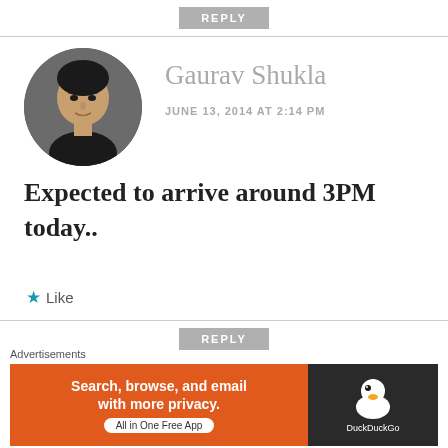[Figure (screenshot): REPLY button bar at top]
Gaurav Shukla
JUNE 13, 2014 AT 2:14 PM
[Figure (photo): Circular avatar photo of Gaurav Shukla]
Expected to arrive around 3PM today..
★ Like
[Figure (screenshot): REPLY button bar divider]
[Figure (logo): Green geometric logo with text 'asif']
Advertisements
[Figure (screenshot): DuckDuckGo advertisement banner: Search, browse, and email with more privacy. All in One Free App]